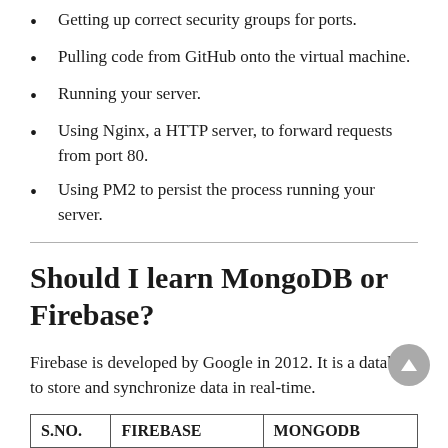Getting up correct security groups for ports.
Pulling code from GitHub onto the virtual machine.
Running your server.
Using Nginx, a HTTP server, to forward requests from port 80.
Using PM2 to persist the process running your server.
Should I learn MongoDB or Firebase?
Firebase is developed by Google in 2012. It is a database to store and synchronize data in real-time.
Difference between Firebase and MongoDB.
| S.NO. | FIREBASE | MONGODB |
| --- | --- | --- |